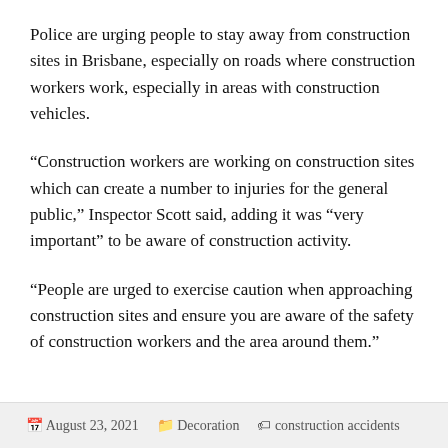Police are urging people to stay away from construction sites in Brisbane, especially on roads where construction workers work, especially in areas with construction vehicles.
“Construction workers are working on construction sites which can create a number to injuries for the general public,” Inspector Scott said, adding it was “very important” to be aware of construction activity.
“People are urged to exercise caution when approaching construction sites and ensure you are aware of the safety of construction workers and the area around them.”
August 23, 2021   Decoration   construction accidents